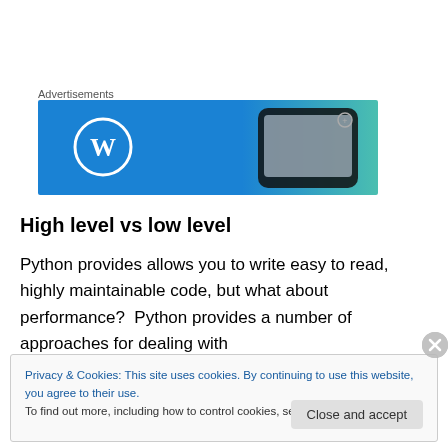[Figure (screenshot): WordPress advertisement banner with blue gradient background and a smartphone on the right side]
High level vs low level
Python provides allows you to write easy to read, highly maintainable code, but what about performance?  Python provides a number of approaches for dealing with
Privacy & Cookies: This site uses cookies. By continuing to use this website, you agree to their use.
To find out more, including how to control cookies, see here: Cookie Policy
Close and accept